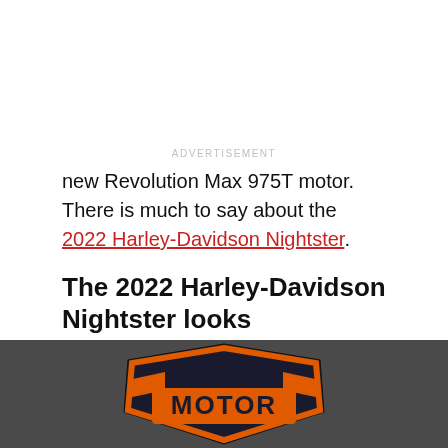ADVERTISEMENT
new Revolution Max 975T motor. There is much to say about the 2022 Harley-Davidson Nightster.
The 2022 Harley-Davidson Nightster looks unmistakably like the Sportster S
[Figure (photo): Harley-Davidson logo on a dark background showing the Motor shield logo in orange and black]